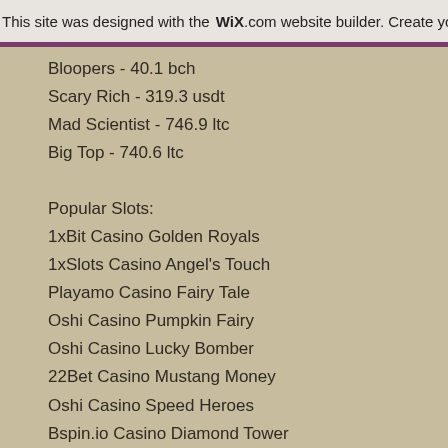This site was designed with the WiX.com website builder. Create yo
Bloopers - 40.1 bch
Scary Rich - 319.3 usdt
Mad Scientist - 746.9 ltc
Big Top - 740.6 ltc
Popular Slots:
1xBit Casino Golden Royals
1xSlots Casino Angel's Touch
Playamo Casino Fairy Tale
Oshi Casino Pumpkin Fairy
Oshi Casino Lucky Bomber
22Bet Casino Mustang Money
Oshi Casino Speed Heroes
Bspin.io Casino Diamond Tower
Sportsbet.io Wild Girls
22Bet Casino Jenny Nevada and the Diamond Temple
King Billy Casino Lucky Haunter
BitcoinCasino.us Giant Riches